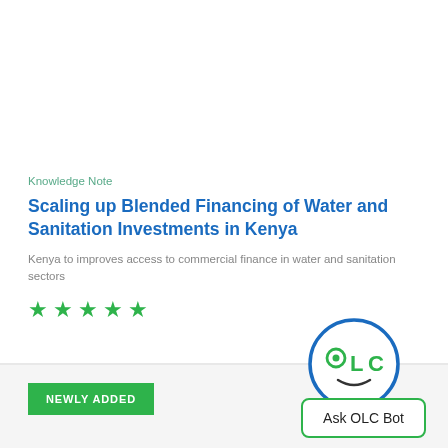Knowledge Note
Scaling up Blended Financing of Water and Sanitation Investments in Kenya
Kenya to improves access to commercial finance in water and sanitation sectors
[Figure (other): Five green star rating icons]
[Figure (logo): OLC Bot logo - circular icon with 'OLC' text and a face]
NEWLY ADDED
Ask OLC Bot